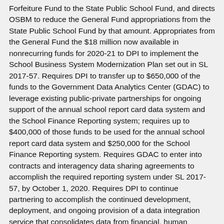Forfeiture Fund to the State Public School Fund, and directs OSBM to reduce the General Fund appropriations from the State Public School Fund by that amount. Appropriates from the General Fund the $18 million now available in nonrecurring funds for 2020-21 to DPI to implement the School Business System Modernization Plan set out in SL 2017-57. Requires DPI to transfer up to $650,000 of the funds to the Government Data Analytics Center (GDAC) to leverage existing public-private partnerships for ongoing support of the annual school report card data system and the School Finance Reporting system; requires up to $400,000 of those funds to be used for the annual school report card data system and $250,000 for the School Finance Reporting system. Requires GDAC to enter into contracts and interagency data sharing agreements to accomplish the required reporting system under SL 2017-57, by October 1, 2020. Requires DPI to continue partnering to accomplish the continued development, deployment, and ongoing provision of a data integration service that consolidates data from financial, human resources, licensure, student information, and EVAAS. Effective July 1, 2020.
Requires the Division of Central Management and Support of the Department of Health and Human Services to waive the 15% match requirement for the competitive grant program for nonprofits receiving the $200-21 funds...